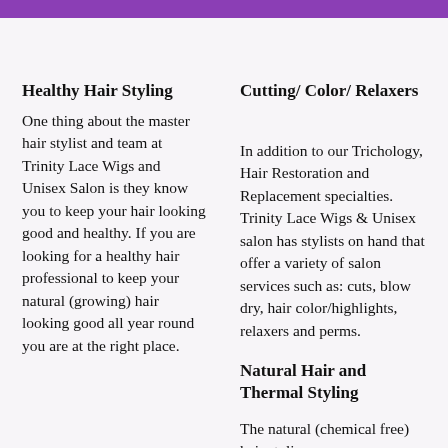Healthy Hair Styling
One thing about the master hair stylist and team at Trinity Lace Wigs and Unisex Salon is they know you to keep your hair looking good and healthy. If you are looking for a healthy hair professional to keep your natural (growing) hair looking good all year round you are at the right place.
Cutting/ Color/ Relaxers
In addition to our Trichology, Hair Restoration and Replacement specialties. Trinity Lace Wigs & Unisex salon has stylists on hand that offer a variety of salon services such as: cuts, blow dry, hair color/highlights, relaxers and perms.
Natural Hair and Thermal Styling
The natural (chemical free) hair styling